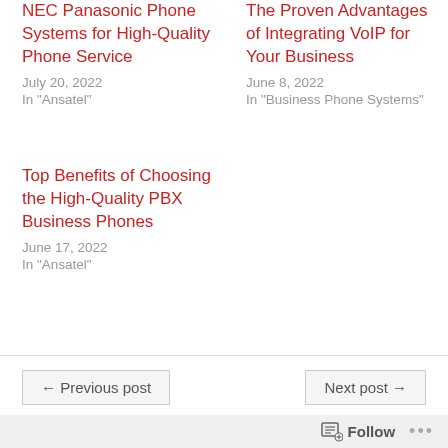NEC Panasonic Phone Systems for High-Quality Phone Service
July 20, 2022
In "Ansatel"
The Proven Advantages of Integrating VoIP for Your Business
June 8, 2022
In "Business Phone Systems"
Top Benefits of Choosing the High-Quality PBX Business Phones
June 17, 2022
In "Ansatel"
← Previous post
Next post →
Follow